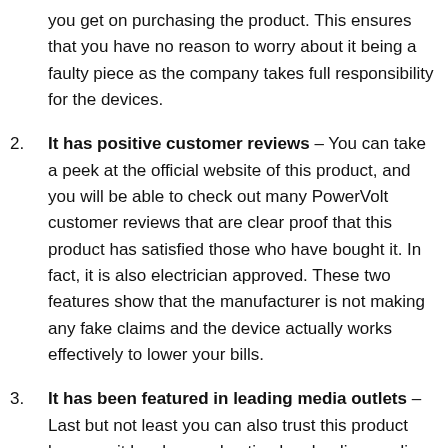you get on purchasing the product. This ensures that you have no reason to worry about it being a faulty piece as the company takes full responsibility for the devices.
2. It has positive customer reviews – You can take a peek at the official website of this product, and you will be able to check out many PowerVolt customer reviews that are clear proof that this product has satisfied those who have bought it. In fact, it is also electrician approved. These two features show that the manufacturer is not making any fake claims and the device actually works effectively to lower your bills.
3. It has been featured in leading media outlets – Last but not least you can also trust this product because it has been advertised on leading media outlets. This again proves that the device is one that you can trust without any doubts at all. To stay on the